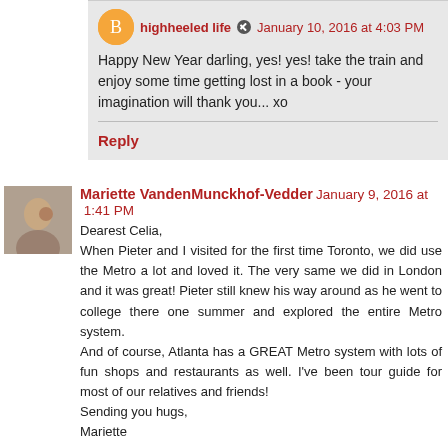highheeled life  January 10, 2016 at 4:03 PM
Happy New Year darling, yes! yes! take the train and enjoy some time getting lost in a book - your imagination will thank you... xo
Reply
Mariette VandenMunckhof-Vedder  January 9, 2016 at 1:41 PM
Dearest Celia,
When Pieter and I visited for the first time Toronto, we did use the Metro a lot and loved it. The very same we did in London and it was great! Pieter still knew his way around as he went to college there one summer and explored the entire Metro system.
And of course, Atlanta has a GREAT Metro system with lots of fun shops and restaurants as well. I've been tour guide for most of our relatives and friends!
Sending you hugs,
Mariette